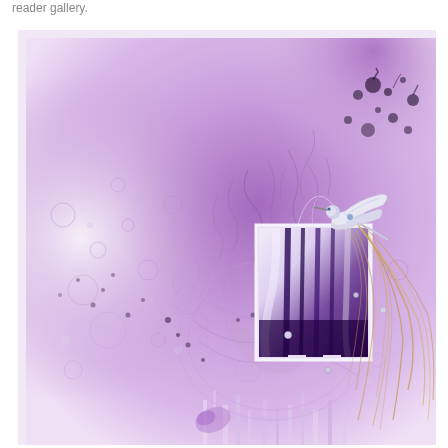reader gallery.
[Figure (illustration): Mixed media artwork on a purple/lavender background showing an abstract composition with paint splatters, bubble textures, drips, and swirling nest-like fibers. A small white-framed photo in the center-right area contains feathers in purple and white. A decorative silver hummingbird embellishment sits atop the frame with long golden/brown feather extensions spreading outward. Black ink splatters and pearl beads accent the piece.]